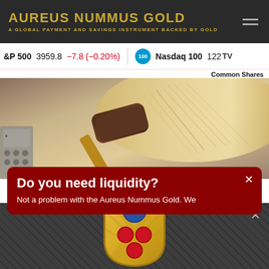AUREUS NUMMUS GOLD — A GLOBAL PAYMENT AND SAVINGS INSTRUMENT BACKED BY GOLD
&P 500   3959.8   –7.8 (–0.20%)   |   Nasdaq 100   122
Common Shares
[Figure (photo): Background photo of a gavel resting on an open book, with a calculator partially visible on the left side. Warm tan/brown tones.]
Do you need liquidity?
Not a problem with the Aureus Nummus Gold. We
[Figure (illustration): A heraldic shield / crest with gold background, blue circular emblem in the upper center with a yellow fleur-de-lis, and four red circles arranged in a triangle pattern on the lower half of the shield.]